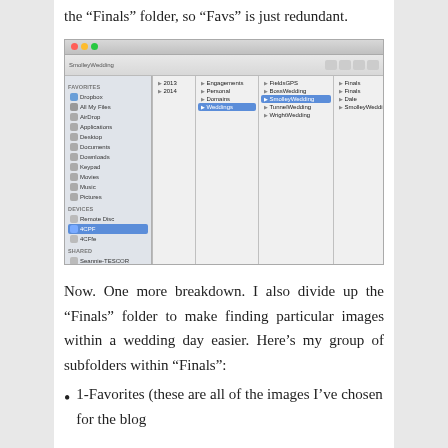the “Finals” folder, so “Favs” is just redundant.
[Figure (screenshot): Mac OS X Finder window showing a folder structure with columns: sidebar with Dropbox, All My Files, AirDrop, Applications, Desktop, Documents, Downloads, Keypad, Movies, Music, Pictures, and under Devices: Remote Disc, 4CPF, 4CFfe, and Shared: Seannie-TESCOR. Main columns show: 2013, 2014, then Engagements, Personal, Domains, Weddings folders, then subfolders including Fields/GPS, BossWedding, MurmurWedding highlighted in blue as SmolleyWedding, TunnelWedding, WrightWedding, and finally Finals, Finals, Dale, SmolleyWeddingAll.]
Now. One more breakdown. I also divide up the “Finals” folder to make finding particular images within a wedding day easier. Here’s my group of subfolders within “Finals”:
1-Favorites (these are all of the images I’ve chosen for the blog